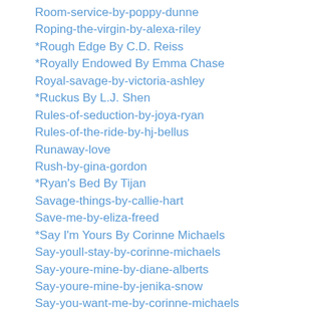Room-service-by-poppy-dunne
Roping-the-virgin-by-alexa-riley
*Rough Edge By C.D. Reiss
*Royally Endowed By Emma Chase
Royal-savage-by-victoria-ashley
*Ruckus By L.J. Shen
Rules-of-seduction-by-joya-ryan
Rules-of-the-ride-by-hj-bellus
Runaway-love
Rush-by-gina-gordon
*Ryan's Bed By Tijan
Savage-things-by-callie-hart
Save-me-by-eliza-freed
*Say I'm Yours By Corinne Michaels
Say-youll-stay-by-corinne-michaels
Say-youre-mine-by-diane-alberts
Say-youre-mine-by-jenika-snow
Say-you-want-me-by-corinne-michaels
*Say You Won't Let Go By Corinne Michaels
Scandal-by-hj-bellus
*Scandalous By L.J. Shen
Schooled-by-ginger-lawson